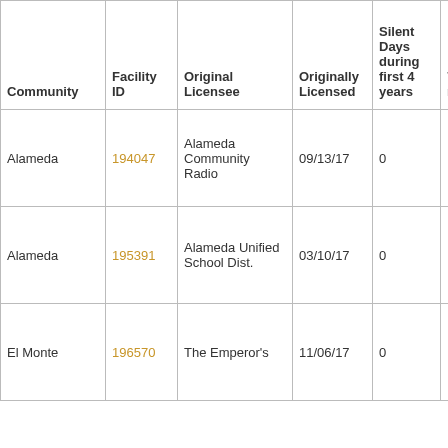| Community | Facility ID | Original Licensee | Originally Licensed | Silent Days during first 4 years | 73 sh re un |
| --- | --- | --- | --- | --- | --- |
| Alameda | 194047 | Alameda Community Radio | 09/13/17 | 0 |  |
| Alameda | 195391 | Alameda Unified School Dist. | 03/10/17 | 0 |  |
| El Monte | 196570 | The Emperor's | 11/06/17 | 0 |  |